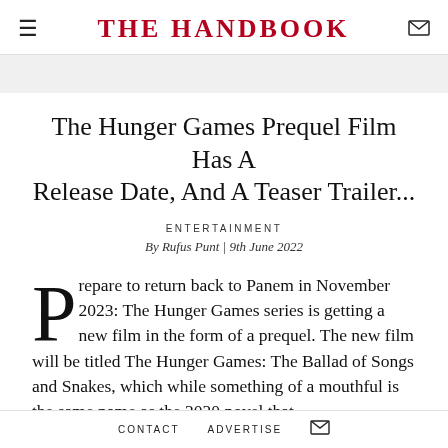THE HANDBOOK
The Hunger Games Prequel Film Has A Release Date, And A Teaser Trailer...
ENTERTAINMENT
By Rufus Punt | 9th June 2022
Prepare to return back to Panem in November 2023: The Hunger Games series is getting a new film in the form of a prequel. The new film will be titled The Hunger Games: The Ballad of Songs and Snakes, which while something of a mouthful is the same name as the 2020 novel that
CONTACT   ADVERTISE